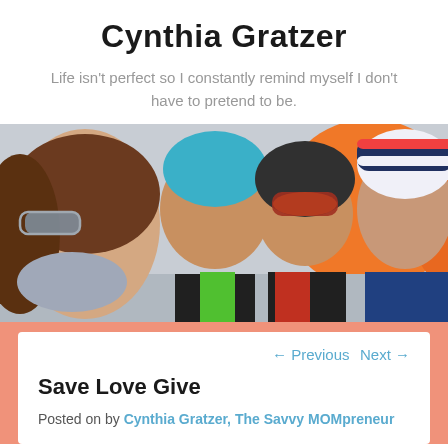Cynthia Gratzer
Life isn't perfect so I constantly remind myself I don't have to pretend to be.
[Figure (photo): Family selfie photo showing four people — a woman with sunglasses and scarf, a boy in a blue beanie, a child in a ski helmet with goggles, and a man in a striped winter hat — posed in front of a large orange ball/pumpkin outdoors in winter gear.]
← Previous   Next →
Save Love Give
Posted on by Cynthia Gratzer, The Savvy MOMpreneur